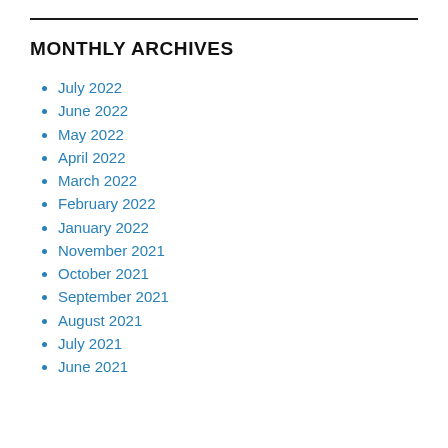MONTHLY ARCHIVES
July 2022
June 2022
May 2022
April 2022
March 2022
February 2022
January 2022
November 2021
October 2021
September 2021
August 2021
July 2021
June 2021